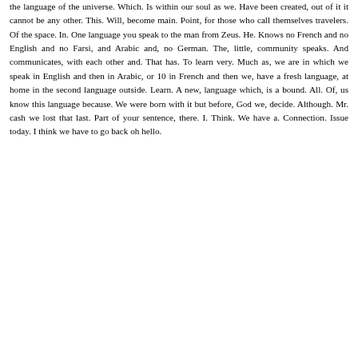the language of the universe. Which. Is within our soul as we. Have been created, out of it it cannot be any other. This. Will, become main. Point, for those who call themselves travelers. Of the space. In. One language you speak to the man from Zeus. He. Knows no French and no English and no Farsi, and Arabic and, no German. The, little, community speaks. And communicates, with each other and. That has. To learn very. Much as, we are in which we speak in English and then in Arabic, or 10 in French and then we, have a fresh language, at home in the second language outside. Learn. A new, language which, is a bound. All. Of, us know this language because. We were born with it but before, God we, decide. Although. Mr. cash we lost that last. Part of your sentence, there. I. Think. We have a. Connection. Issue today. I think we have to go back oh hello.